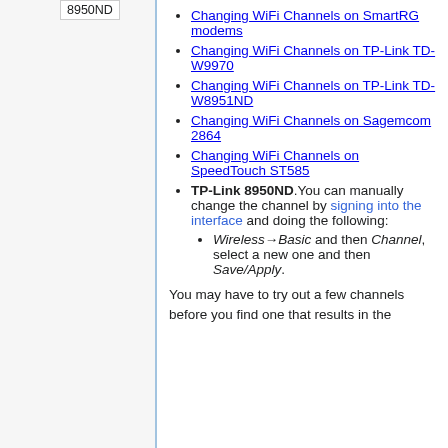Changing WiFi Channels on SmartRG modems
Changing WiFi Channels on TP-Link TD-W9970
Changing WiFi Channels on TP-Link TD-W8951ND
Changing WiFi Channels on Sagemcom 2864
Changing WiFi Channels on SpeedTouch ST585
TP-Link 8950ND. You can manually change the channel by signing into the interface and doing the following:
Wireless→Basic and then Channel, select a new one and then Save/Apply.
You may have to try out a few channels before you find one that results in the